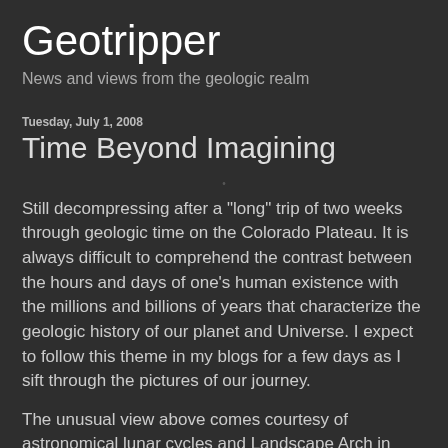Geotripper
News and views from the geologic realm
Tuesday, July 1, 2008
Time Beyond Imagining
Still decompressing after a "long" trip of two weeks through geologic time on the Colorado Plateau. It is always difficult to comprehend the contrast between the hours and days of one's human existence with the millions and billions of years that characterize the geologic history of our planet and Universe. I expect to follow this theme in my blogs for a few days as I sift through the pictures of our journey.
The unusual view above comes courtesy of astronomical lunar cycles and Landscape Arch in Arches National Park. The arch has an opening nearly as long as a football field,